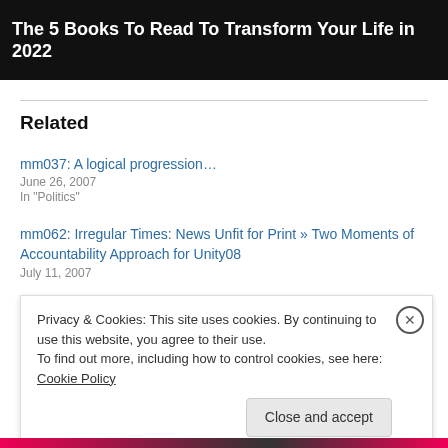[Figure (photo): Dark hero image with white bold text reading 'The 5 Books To Read To Transform Your Life in 2022']
Related
mm037: A logical progression…
June 26, 2007
In "Politics"
mm062: Irregular Times: News Unfit for Print » Two Moments of Accountability Approach for Unity08
July 11, 2007
Privacy & Cookies: This site uses cookies. By continuing to use this website, you agree to their use.
To find out more, including how to control cookies, see here: Cookie Policy
Close and accept